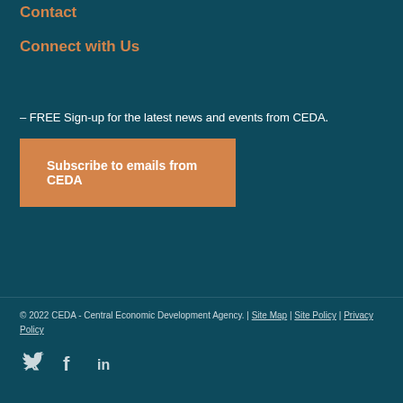Contact
Connect with Us
– FREE Sign-up for the latest news and events from CEDA.
Subscribe to emails from CEDA
© 2022 CEDA - Central Economic Development Agency. | Site Map | Site Policy | Privacy Policy
[Figure (illustration): Social media icons: Twitter (bird icon), Facebook (f icon), LinkedIn (in icon)]